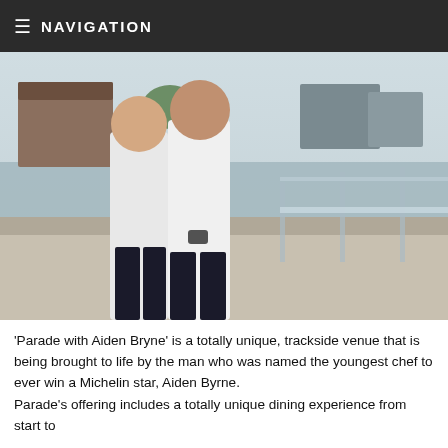NAVIGATION
[Figure (photo): Two men in white shirts standing on a rooftop terrace or balcony with glass railings, with a cityscape visible behind them including Tudor-style buildings on the left and modern buildings on the right.]
'Parade with Aiden Bryne' is a totally unique, trackside venue that is being brought to life by the man who was named the youngest chef to ever win a Michelin star, Aiden Byrne. Parade's offering includes a totally unique dining experience from start to